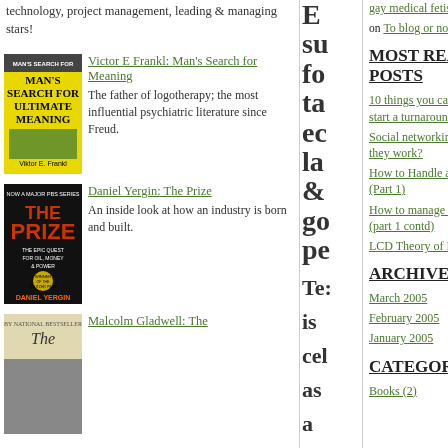technology, project management, leading & managing stars!
[Figure (illustration): Book cover: Man's Search for Ultimate Meaning by Viktor E. Frankl - yellow cover]
Victor E Frankl: Man's Search for Meaning. The father of logotherapy; the most influential psychiatric literature since Freud.
[Figure (illustration): Book cover: The Prize - The Epic Quest for Oil, Money & Power by Daniel Yergin - dark cover]
Daniel Yergin: The Prize. An inside look at how an industry is born and built.
[Figure (illustration): Book cover: Malcolm Gladwell - partial view]
Malcolm Gladwell: The...
Tes is cel as a mo for ret suc in
gay medical fetish on To blog or not to blog...
MOST READ POSTS
10 things you can do to kick-start a turnaround
Social networking websites. Do they work?
How to Handle a Turnaround (Part 1)
How to manage a turnaround (part 1 contd)
LCD Theory of Performance
ARCHIVES
March 2005
February 2005
January 2005
CATEGORIES
Books (2)